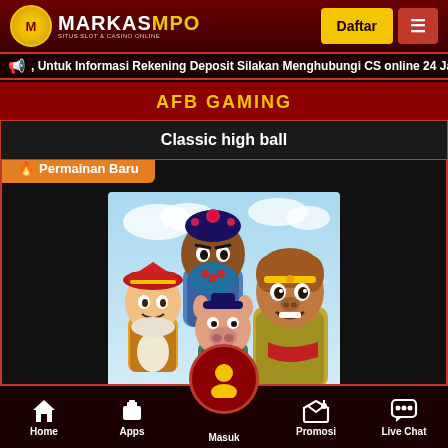[Figure (screenshot): MarkasMPO website header with logo, Daftar button, and menu button]
Untuk Informasi Rekening Deposit Silakan Menghubungi CS online 24 Jam
AFB GAMING
Classic high ball
🔥 Permainan Baru
[Figure (illustration): Chinese Journey to the West game characters illustration]
A Chinese Odyssey
Home  Apps  Masuk  Promosi  Live Chat